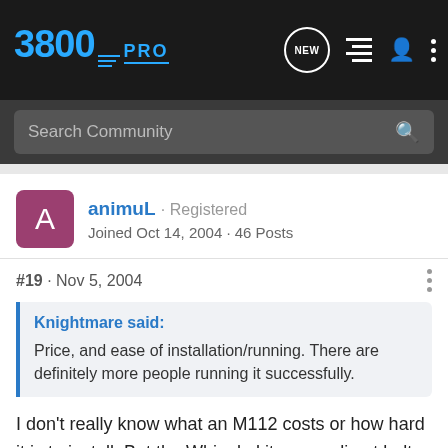3800PRO · NEW · [list] · [user] · [more]
Search Community
animuL · Registered
Joined Oct 14, 2004 · 46 Posts
#19 · Nov 5, 2004
Knightmare said:
Price, and ease of installation/running. There are definitely more people running it successfully.
I don't really know what an M112 costs or how hard it is to install. But the Whipple kits are a direct bolt on, no modifications required, and can be installed by anyone with basic mechanical skills in 3 hrs max... I can do it in about 30